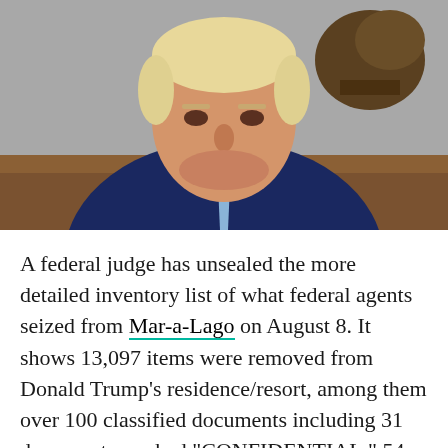[Figure (photo): A man in a dark blue suit and light blue tie sitting in front of a wooden desk with gold drawer knobs, with a bronze sculpture visible in the background. The man has light blonde hair and is looking directly at the camera with a serious expression. He is wearing an American flag pin on his lapel.]
A federal judge has unsealed the more detailed inventory list of what federal agents seized from Mar-a-Lago on August 8. It shows 13,097 items were removed from Donald Trump's residence/resort, among them over 100 classified documents including 31 documents marked “CONFIDENTIAL,” 54 documents marked “SECRET” and 18 documents